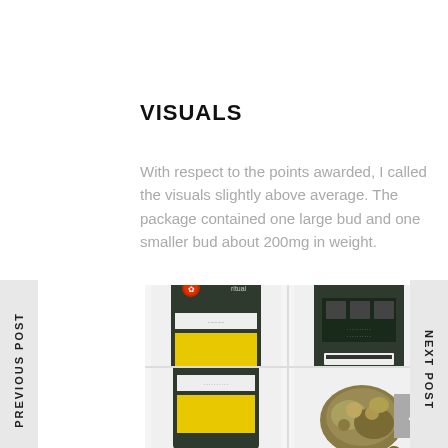VISUALS
With respect to the points awarded, I called the visuals slightly above average. The package contained one large bud and one smaller bud about 200mg in weight.
[Figure (photo): Four-panel photo grid showing front and back of a dark green cannabis product pouch (branded with a cannabis leaf logo and yellow label), plus cannabis bud close-up shots]
PREVIOUS POST
NEXT POST